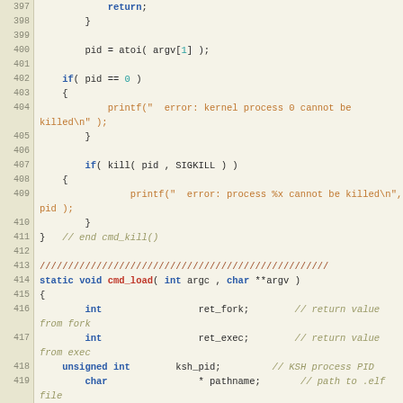[Figure (screenshot): Source code listing in C, lines 397-422, showing cmd_kill and cmd_load function implementations with syntax highlighting. Line numbers are shown in a gutter on the left. Keywords are blue-bold, function names red-bold, string literals orange, comments italic gray-green, numeric literals teal.]